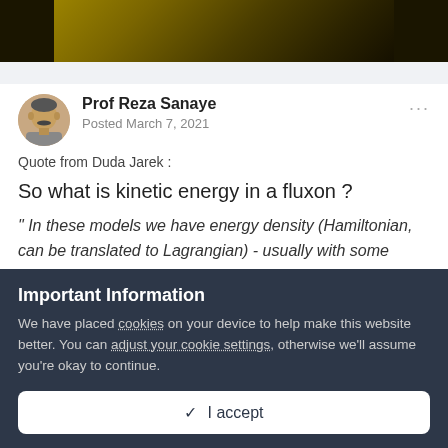[Figure (photo): Dark golden/brown nature photo at top of page, partially visible]
Prof Reza Sanaye
Posted March 7, 2021
Quote from Duda Jarek :
So what is kinetic energy in a fluxon ?
" In these models we have energy density (Hamiltonian, can be translated to Lagrangian) - usually with some spatial derivatives like stress, temporal for kinetic behavior, and
Important Information
We have placed cookies on your device to help make this website better. You can adjust your cookie settings, otherwise we'll assume you're okay to continue.
I accept